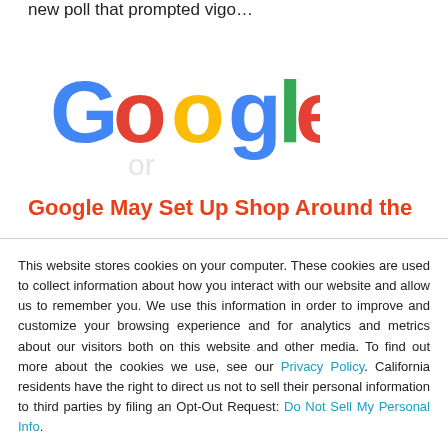new poll that prompted vigo…
[Figure (logo): Google logo in colorful letters]
Google May Set Up Shop Around the
This website stores cookies on your computer. These cookies are used to collect information about how you interact with our website and allow us to remember you. We use this information in order to improve and customize your browsing experience and for analytics and metrics about our visitors both on this website and other media. To find out more about the cookies we use, see our Privacy Policy. California residents have the right to direct us not to sell their personal information to third parties by filing an Opt-Out Request: Do Not Sell My Personal Info.
Accept